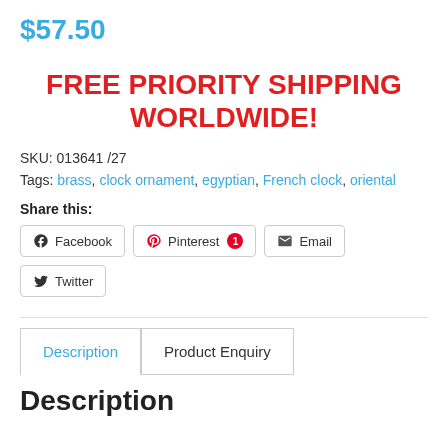$57.50
FREE PRIORITY SHIPPING WORLDWIDE!
SKU: 013641 /27
Tags: brass, clock ornament, egyptian, French clock, oriental
Share this:
Facebook  Pinterest 1  Email  Twitter
Description  Product Enquiry
Description